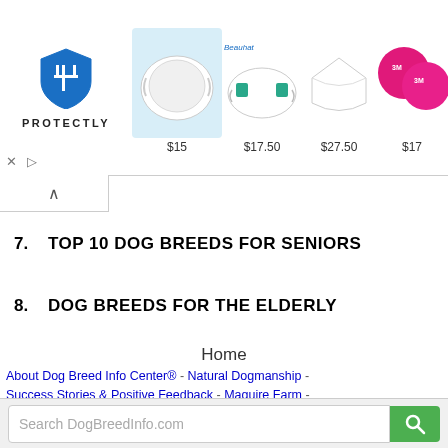[Figure (screenshot): Advertisement banner showing PROTECTLY logo on left and four face mask products with prices: $15, $17.50, $27.50, $17]
7.   TOP 10 DOG BREEDS FOR SENIORS
8.   DOG BREEDS FOR THE ELDERLY
Home
About Dog Breed Info Center® - Natural Dogmanship - Success Stories & Positive Feedback - Maguire Farm - Fiberglass Awareness - Privacy Policy - Terms of Service - Contact Us
[Figure (screenshot): Search bar with placeholder 'Search DogBreedInfo.com' and green search button]